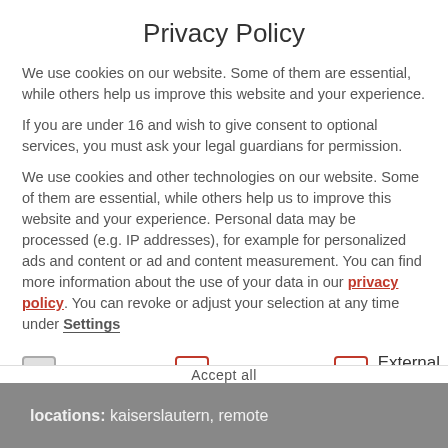Privacy Policy
We use cookies on our website. Some of them are essential, while others help us improve this website and your experience.
If you are under 16 and wish to give consent to optional services, you must ask your legal guardians for permission.
We use cookies and other technologies on our website. Some of them are essential, while others help us to improve this website and your experience. Personal data may be processed (e.g. IP addresses), for example for personalized ads and content or ad and content measurement. You can find more information about the use of your data in our privacy policy. You can revoke or adjust your selection at any time under Settings
Essential (checked)
Marketing (unchecked)
External Media (unchecked)
Accept all
locations: kaiserslautern, remote